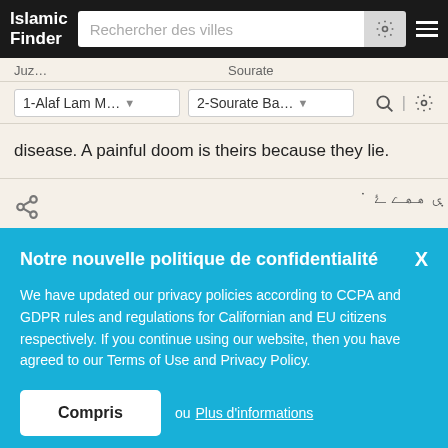Islamic Finder — Rechercher des villes
Juz... Sourate
1-Alaf Lam M... ▼  2-Sourate Ba... ▼
disease. A painful doom is theirs because they lie.
Notre nouvelle politique de confidentialité  X
We have updated our privacy policies according to CCPA and GDPR rules and regulations for Californian and EU citizens respectively. If you continue using our website, then you have agreed to our Terms of Use and Privacy Policy.
Compris  ou Plus d'informations